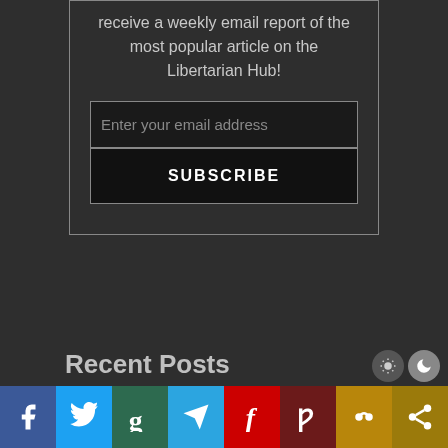receive a weekly email report of the most popular article on the Libertarian Hub!
[Figure (screenshot): Email subscription form with text input for email address and a SUBSCRIBE button]
Recent Posts
[Figure (infographic): Social media share bar with icons for Facebook, Twitter, Gab, Telegram, Minds, Parler, MeWe, and Share]